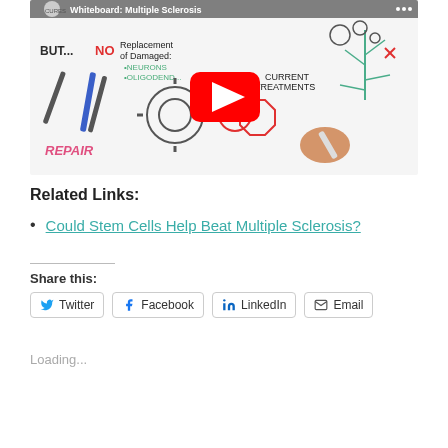[Figure (screenshot): YouTube video thumbnail for 'Whiteboard: Multiple Sclerosis' showing a whiteboard drawing with tools, gears, neurons, and text about repair and current treatments, with a red YouTube play button overlay.]
Related Links:
Could Stem Cells Help Beat Multiple Sclerosis?
Share this:
Twitter  Facebook  LinkedIn  Email
Loading...